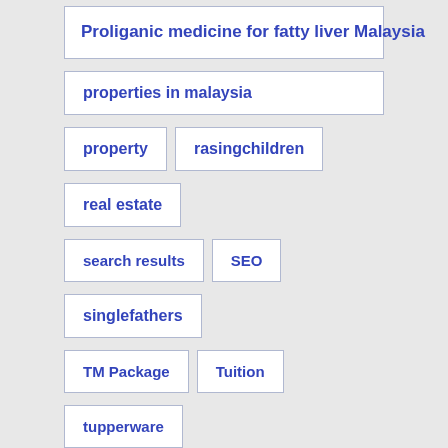Proliganic medicine for fatty liver Malaysia
properties in malaysia
property
rasingchildren
real estate
search results
SEO
singlefathers
TM Package
Tuition
tupperware
unifi internet
unifi time